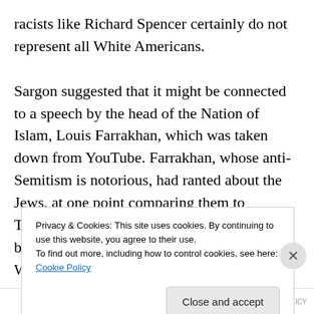racists like Richard Spencer certainly do not represent all White Americans.

Sargon suggested that it might be connected to a speech by the head of the Nation of Islam, Louis Farrakhan, which was taken down from YouTube. Farrakhan, whose anti-Semitism is notorious, had ranted about the Jews, at one point comparing them to Termites. Given that the attackers seemed to be largely Black, he didn't see how Trump or White supremacy could be blamed. He claimed that Trump didn't have any problem with Jews, as his daughter had
Privacy & Cookies: This site uses cookies. By continuing to use this website, you agree to their use.
To find out more, including how to control cookies, see here: Cookie Policy